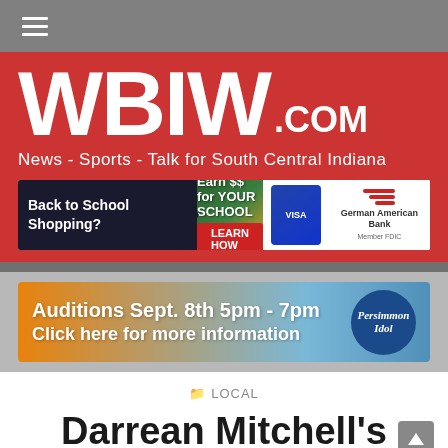WBIW.com - News - Sports - Talk for South Central Indiana
[Figure (screenshot): German American Bank advertisement: Back to School Shopping - Earn $$ for YOUR SCHOOL - LEARN HOW - German American Bank]
[Figure (advertisement): Persimmon Idol auditions banner: Auditions Sept. 8th 5pm - 7pm, Click here for more information]
LOCAL
Darrean Mitchell's final